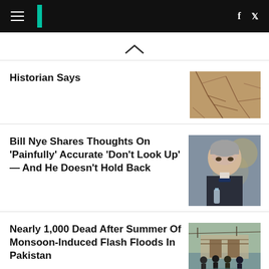HuffPost navigation bar with hamburger menu, logo, Facebook and Twitter icons
[Figure (other): Chevron/caret up arrow navigation symbol]
Historian Says
[Figure (photo): Cracked dry earth texture photo thumbnail]
Bill Nye Shares Thoughts On 'Painfully' Accurate 'Don't Look Up' — And He Doesn't Hold Back
[Figure (photo): Photo of Bill Nye, gray-haired man in dark suit at what appears to be a press event]
Nearly 1,000 Dead After Summer Of Monsoon-Induced Flash Floods In Pakistan
[Figure (photo): Photo showing people standing near flooded area in Pakistan, viewed from behind]